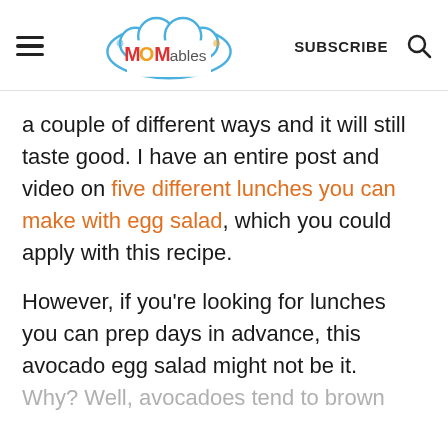MOMables | SUBSCRIBE
a couple of different ways and it will still taste good. I have an entire post and video on five different lunches you can make with egg salad, which you could apply with this recipe.
However, if you're looking for lunches you can prep days in advance, this avocado egg salad might not be it.
Why? Well, avocadoes tend to brown